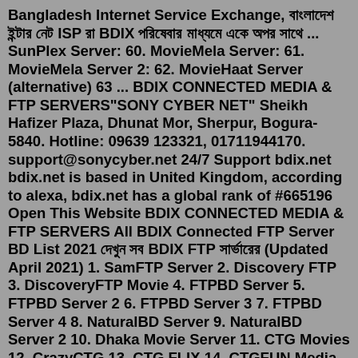Bangladesh Internet Service Exchange, বাংলাদেশ ইন্টার নেট ISP রা BDIX পরিষেবার মাধ্যমে একে অপর সাথে ... SunPlex Server: 60. MovieMela Server: 61. MovieMela Server 2: 62. MovieHaat Server (alternative) 63 ... BDIX CONNECTED MEDIA & FTP SERVERS"SONY CYBER NET" Sheikh Hafizer Plaza, Dhunat Mor, Sherpur, Bogura-5840. Hotline: 09639 123321, 01711944170. support@sonycyber.net 24/7 Support bdix.net bdix.net is based in United Kingdom, according to alexa, bdix.net has a global rank of #665196 Open This Website BDIX CONNECTED MEDIA & FTP SERVERS All BDIX Connected FTP Server BD List 2021 দেখুন সব BDIX FTP সার্ভারের (Updated April 2021) 1. SamFTP Server 2. Discovery FTP 3. DiscoveryFTP Movie 4. FTPBD Server 5. FTPBD Server 2 6. FTPBD Server 3 7. FTPBD Server 4 8. NaturalBD Server 9. NaturalBD Server 2 10. Dhaka Movie Server 11. CTG Movies 12. CrazyCTG 13. CTG FLIX 14. CTGFUN Media ServerMovie Haat . 99999 . 00000 Free sunplex.net email domain validation to check mail server and email policy. Sim...